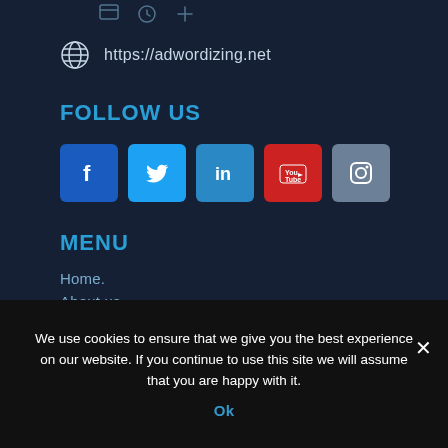https://adwordizing.net
FOLLOW US
[Figure (other): Social media icon buttons: Facebook, Twitter, LinkedIn, YouTube, Instagram]
MENU
Home.
About us.
What we do.
We use cookies to ensure that we give you the best experience on our website. If you continue to use this site we will assume that you are happy with it.
Ok